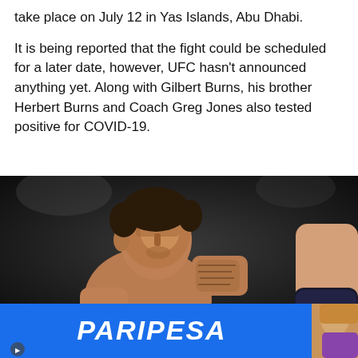take place on July 12 in Yas Islands, Abu Dhabi.
It is being reported that the fight could be scheduled for a later date, however, UFC hasn't announced anything yet. Along with Gilbert Burns, his brother Herbert Burns and Coach Greg Jones also tested positive for COVID-19.
[Figure (photo): MMA fighter Gilbert Burns in fighting stance wearing UFC gloves, opponent's arm visible on right side. PARIPESA advertisement banner at bottom.]